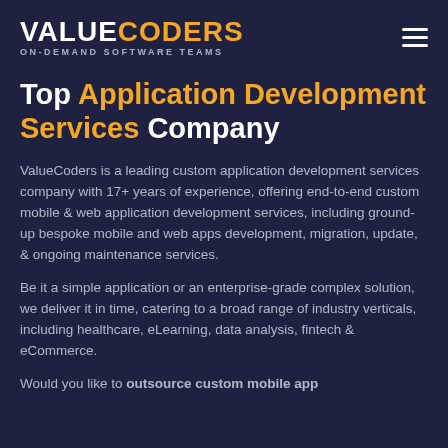VALUECODERS ON-DEMAND SOFTWARE TEAMS
Top Application Development Services Company
ValueCoders is a leading custom application development services company with 17+ years of experience, offering end-to-end custom mobile & web application development services, including ground-up bespoke mobile and web apps development, migration, update, & ongoing maintenance services.
Be it a simple application or an enterprise-grade complex solution, we deliver it in time, catering to a broad range of industry verticals, including healthcare, eLearning, data analysis, fintech & eCommerce.
Would you like to outsource custom mobile app